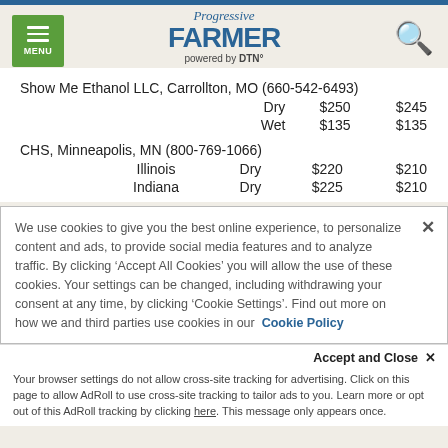Progressive Farmer powered by DTN
Show Me Ethanol LLC, Carrollton, MO (660-542-6493)
|  | Type | Price1 | Price2 |
| --- | --- | --- | --- |
|  | Dry | $250 | $245 |
|  | Wet | $135 | $135 |
CHS, Minneapolis, MN (800-769-1066)
| State | Type | Price1 | Price2 |
| --- | --- | --- | --- |
| Illinois | Dry | $220 | $210 |
| Indiana | Dry | $225 | $210 |
We use cookies to give you the best online experience, to personalize content and ads, to provide social media features and to analyze traffic. By clicking ‘Accept All Cookies’ you will allow the use of these cookies. Your settings can be changed, including withdrawing your consent at any time, by clicking ‘Cookie Settings’. Find out more on how we and third parties use cookies in our Cookie Policy
Accept and Close ×
Your browser settings do not allow cross-site tracking for advertising. Click on this page to allow AdRoll to use cross-site tracking to tailor ads to you. Learn more or opt out of this AdRoll tracking by clicking here. This message only appears once.